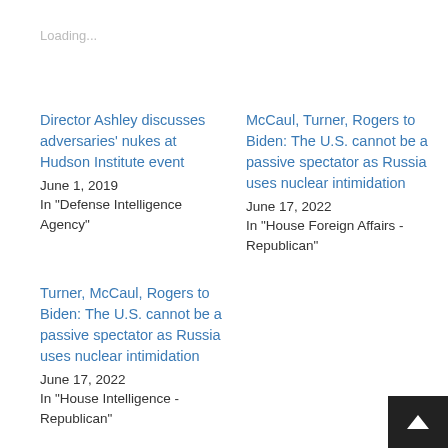Loading...
Director Ashley discusses adversaries' nukes at Hudson Institute event
June 1, 2019
In "Defense Intelligence Agency"
McCaul, Turner, Rogers to Biden: The U.S. cannot be a passive spectator as Russia uses nuclear intimidation
June 17, 2022
In "House Foreign Affairs - Republican"
Turner, McCaul, Rogers to Biden: The U.S. cannot be a passive spectator as Russia uses nuclear intimidation
June 17, 2022
In "House Intelligence - Republican"